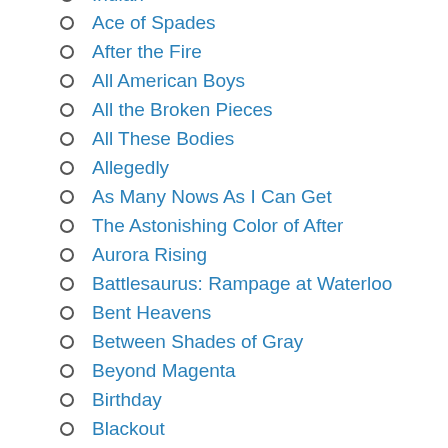Indian
Ace of Spades
After the Fire
All American Boys
All the Broken Pieces
All These Bodies
Allegedly
As Many Nows As I Can Get
The Astonishing Color of After
Aurora Rising
Battlesaurus: Rampage at Waterloo
Bent Heavens
Between Shades of Gray
Beyond Magenta
Birthday
Blackout
Boots on the Ground